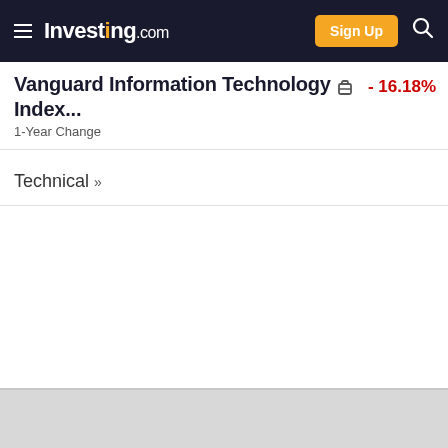Investing.com
Vanguard Information Technology Index...
1-Year Change
- 16.18%
Technical »